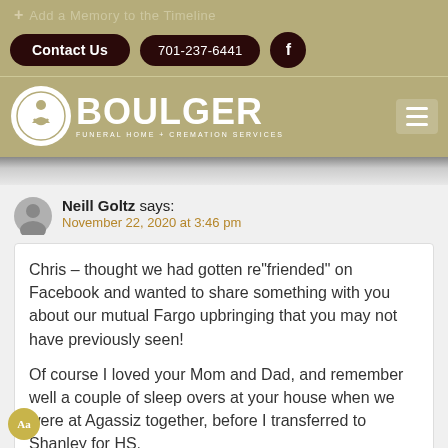[Figure (screenshot): Boulger Funeral Home website header with navigation buttons: Contact Us, 701-237-6441, and Facebook icon on olive/tan background]
[Figure (logo): Boulger Funeral Home + Cremation Services logo with white circular emblem and hamburger menu icon]
Neill Goltz says: November 22, 2020 at 3:46 pm
Chris – thought we had gotten re"friended" on Facebook and wanted to share something with you about our mutual Fargo upbringing that you may not have previously seen!

Of course I loved your Mom and Dad, and remember well a couple of sleep overs at your house when we were at Agassiz together, before I transferred to Shanley for HS.